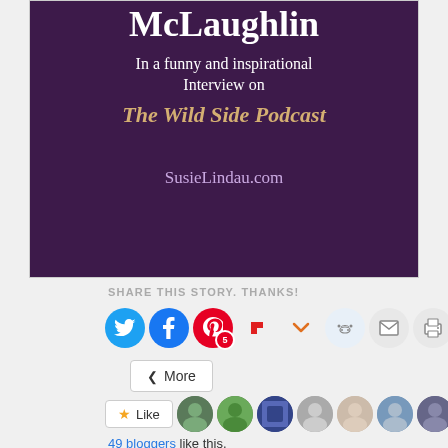[Figure (illustration): Podcast promotional image on dark purple background. Text reads: McLaughlin / In a funny and inspirational Interview on / The Wild Side Podcast / SusieLindau.com]
SHARE THIS STORY. THANKS!
[Figure (infographic): Social sharing buttons: Twitter, Facebook, Pinterest (5), Flipboard, Pocket, Reddit, Email, Print]
< More
★ Like
49 bloggers like this.